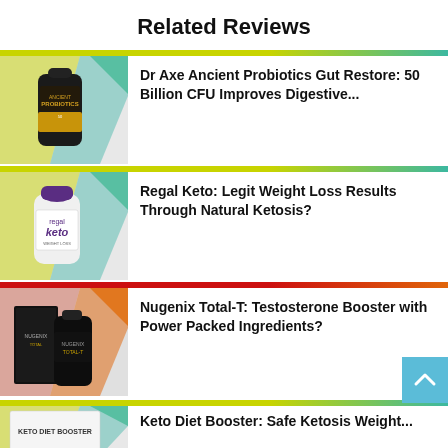Related Reviews
[Figure (photo): Dr Axe Ancient Probiotics supplement bottle with olive/gold label, on a banner with yellow-green and teal diagonal stripe]
Dr Axe Ancient Probiotics Gut Restore: 50 Billion CFU Improves Digestive...
[Figure (photo): Regal Keto supplement bottle with purple cap and white label, on a banner with yellow-green and teal diagonal stripe]
Regal Keto: Legit Weight Loss Results Through Natural Ketosis?
[Figure (photo): Nugenix Total-T supplement box and bottle, black with red/orange banner with diagonal stripe]
Nugenix Total-T: Testosterone Booster with Power Packed Ingredients?
[Figure (photo): Keto Diet Booster product box, white with green/yellow diagonal stripe banner]
Keto Diet Booster: Safe Ketosis Weight...